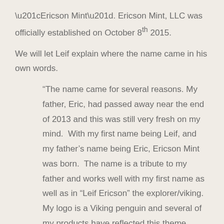“Ericson Mint”. Ericson Mint, LLC was officially established on October 8th 2015.
We will let Leif explain where the name came in his own words.
“The name came for several reasons. My father, Eric, had passed away near the end of 2013 and this was still very fresh on my mind. With my first name being Leif, and my father’s name being Eric, Ericson Mint was born. The name is a tribute to my father and works well with my first name as well as in “Leif Ericson” the explorer/viking. My logo is a Viking penguin and several of my products have reflected this theme.